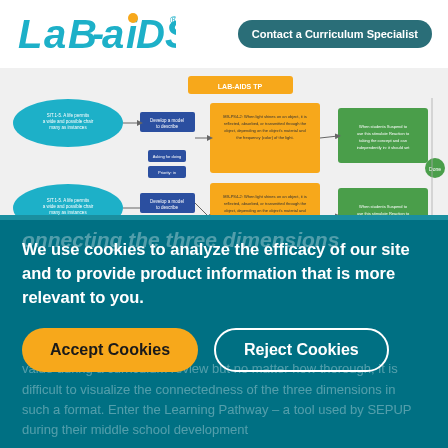[Figure (logo): Lab-aids logo in teal italic bold font with orange dot]
Contact a Curriculum Specialist
[Figure (flowchart): Learning Pathway flowchart showing three dimensions connected with color-coded nodes and arrows in blue, orange, and green]
We use cookies to analyze the efficacy of our site and to provide product information that is more relevant to you.
Accept Cookies
Reject Cookies
onnecting the three dimensions
value during a curriculum review but no matter how thorough, it is difficult to visualize the connectedness of the three dimensions in such a format. Enter the Learning Pathway – a tool used by SEPUP during their middle school development